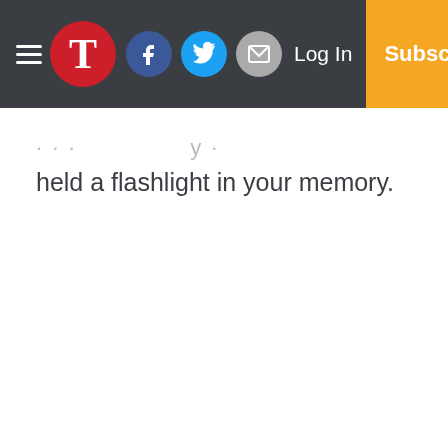T [logo] | Facebook | Twitter | Mail | Log In | Subscribe
held a flashlight in your memory.